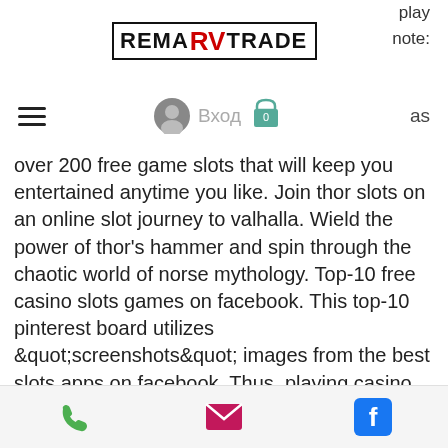play note:
[Figure (logo): REMARV TRADE logo with red RV letters inside a black border box]
≡  Вход  0  as
over 200 free game slots that will keep you entertained anytime you like. Join thor slots on an online slot journey to valhalla. Wield the power of thor's hammer and spin through the chaotic world of norse mythology. Top-10 free casino slots games on facebook. This top-10 pinterest board utilizes &quot;screenshots&quot; images from the best slots apps on facebook. Thus, playing casino games for free at kiwigambler could be your best option. With this free app, you can play casino. Free casino games ; #2. 100% up to $0 ; #3. 280% up to $0 ; #4. 250% up to $0 ; #5. 200% up to $0
In Scotland, the legal age is the same as in England. best free casino games.
phone | email | facebook